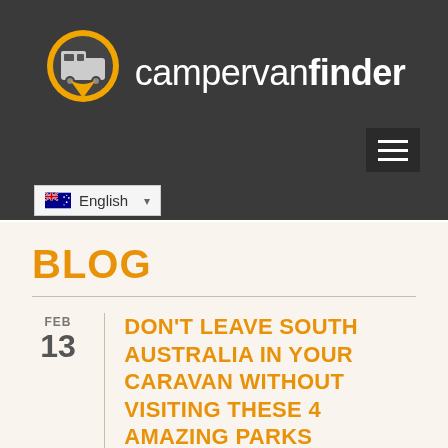[Figure (logo): Campervan Finder logo: orange map pin icon with a white campervan silhouette, next to text 'campervan' (light) + 'finder' (bold) in white on dark grey background]
[Figure (other): Hamburger menu button (three horizontal white lines) on dark background]
English
BLOG
FEB 13
DON’T LEAVE SOUTH AUSTRALIA IN YOUR CARAVAN WITHOUT VISITING THESE 4 AMAZING PARKS